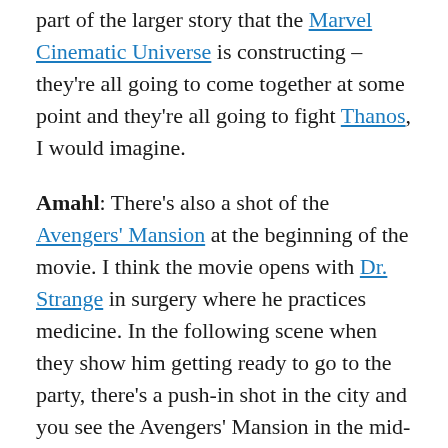…think that it's going to be a part of the larger story that the Marvel Cinematic Universe is constructing – they're all going to come together at some point and they're all going to fight Thanos, I would imagine.
Amahl: There's also a shot of the Avengers' Mansion at the beginning of the movie. I think the movie opens with Dr. Strange in surgery where he practices medicine. In the following scene when they show him getting ready to go to the party, there's a push-in shot in the city and you see the Avengers' Mansion in the mid-ground. It's not in the foreground, nor in the background. It's in the mid-ground and it's large enough for you to see it. And that push-